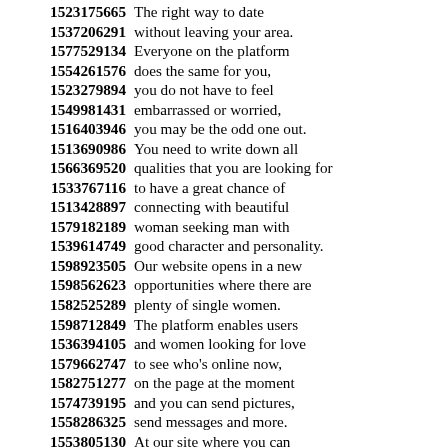1523175665 The right way to date
1537206291 without leaving your area.
1577529134 Everyone on the platform
1554261576 does the same for you,
1523279894 you do not have to feel
1549981431 embarrassed or worried,
1516403946 you may be the odd one out.
1513690986 You need to write down all
1566369520 qualities that you are looking for
1533767116 to have a great chance of
1513428897 connecting with beautiful
1579182189 woman seeking man with
1539614749 good character and personality.
1598923505 Our website opens in a new
1598562623 opportunities where there are
1582525289 plenty of single women.
1598712849 The platform enables users
1536394105 and women looking for love
1579662747 to see who's online now,
1582751277 on the page at the moment
1574739195 and you can send pictures,
1558286325 send messages and more.
1553805130 At our site where you can
1594666256 find the hottest and most
1564901685 beautiful women in all